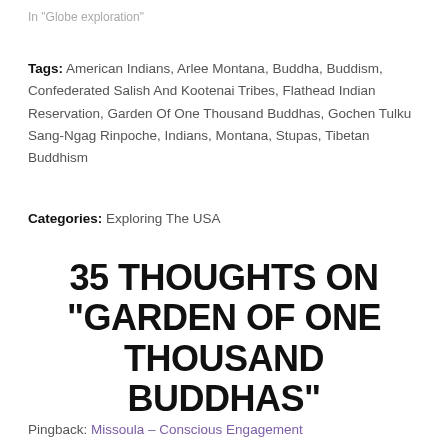In "Globe exploration"
Tags: American Indians, Arlee Montana, Buddha, Buddism, Confederated Salish And Kootenai Tribes, Flathead Indian Reservation, Garden Of One Thousand Buddhas, Gochen Tulku Sang-Ngag Rinpoche, Indians, Montana, Stupas, Tibetan Buddhism
Categories: Exploring The USA
35 THOUGHTS ON “GARDEN OF ONE THOUSAND BUDDHAS”
Pingback: Missoula – Conscious Engagement